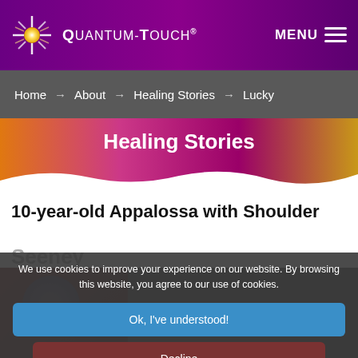Quantum-Touch® MENU
Home → About → Healing Stories → Lucky
Healing Stories
10-year-old Appalossa with Shoulder
Seeney
We use cookies to improve your experience on our website. By browsing this website, you agree to our use of cookies.
Ok, I've understood!
Decline
More Info